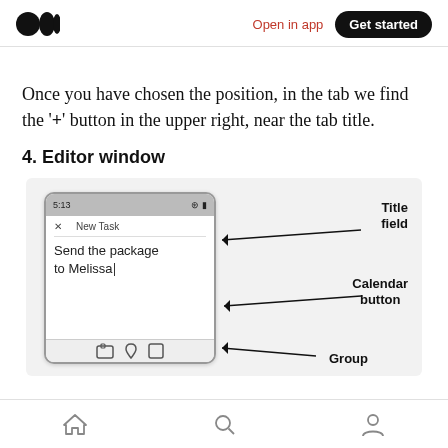Medium logo | Open in app | Get started
Once you have chosen the position, in the tab we find the '+' button in the upper right, near the tab title.
4. Editor window
[Figure (screenshot): Screenshot of a mobile app editor window showing a 'New Task' dialog with text 'Send the package to Melissa' and annotated labels pointing to: Title field, Calendar button, Group]
Home | Search | Profile navigation icons